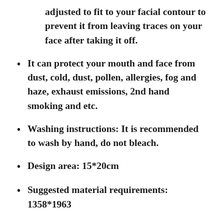adjusted to fit to your facial contour to prevent it from leaving traces on your face after taking it off.
It can protect your mouth and face from dust, cold, dust, pollen, allergies, fog and haze, exhaust emissions, 2nd hand smoking and etc.
Washing instructions: It is recommended to wash by hand, do not bleach.
Design area: 15*20cm
Suggested material requirements: 1358*1963